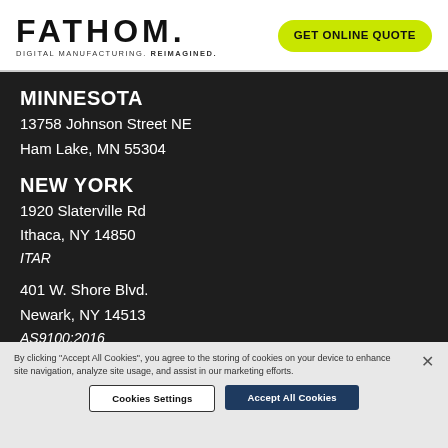FATHOM. DIGITAL MANUFACTURING. REIMAGINED.
GET ONLINE QUOTE
MINNESOTA
13758 Johnson Street NE
Ham Lake, MN 55304
NEW YORK
1920 Slaterville Rd
Ithaca, NY 14850
ITAR
401 W. Shore Blvd.
Newark, NY 14513
AS9100:2016
ISO 9001:2015
ITAR
By clicking "Accept All Cookies", you agree to the storing of cookies on your device to enhance site navigation, analyze site usage, and assist in our marketing efforts.
Cookies Settings
Accept All Cookies